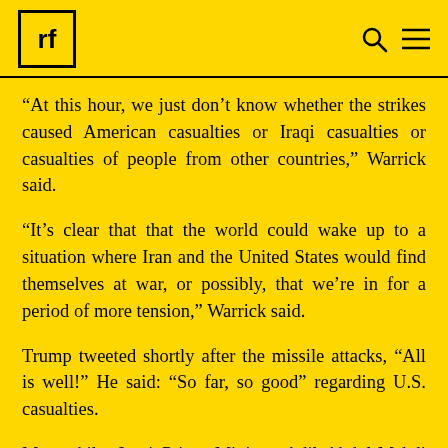rf
“At this hour, we just don’t know whether the strikes caused American casualties or Iraqi casualties or casualties of people from other countries,” Warrick said.
“It’s clear that that the world could wake up to a situation where Iran and the United States would find themselves at war, or possibly, that we’re in for a period of more tension,” Warrick said.
Trump tweeted shortly after the missile attacks, “All is well!” He said: “So far, so good” regarding U.S. casualties.
Meanwhile, Iraqi Prime Minister Adil Abdul-Mahdi said shortly after noon in Baghdad on January 8 that his government had received no reports of casualties